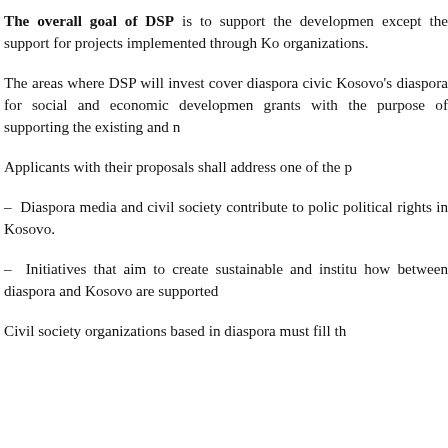The overall goal of DSP is to support the development except the support for projects implemented through Ko organizations.
The areas where DSP will invest cover diaspora civic Kosovo's diaspora for social and economic development grants with the purpose of supporting the existing and n
Applicants with their proposals shall address one of the p
– Diaspora media and civil society contribute to polic political rights in Kosovo.
– Initiatives that aim to create sustainable and institu how between diaspora and Kosovo are supported
Civil society organizations based in diaspora must fill th